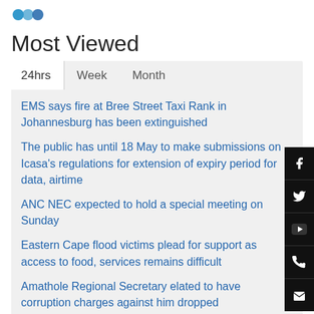[Figure (logo): Website logo dots (blue/teal decorative dots)]
Most Viewed
24hrs  Week  Month
EMS says fire at Bree Street Taxi Rank in Johannesburg has been extinguished
The public has until 18 May to make submissions on Icasa's regulations for extension of expiry period for data, airtime
ANC NEC expected to hold a special meeting on Sunday
Eastern Cape flood victims plead for support as access to food, services remains difficult
Amathole Regional Secretary elated to have corruption charges against him dropped
LATEST